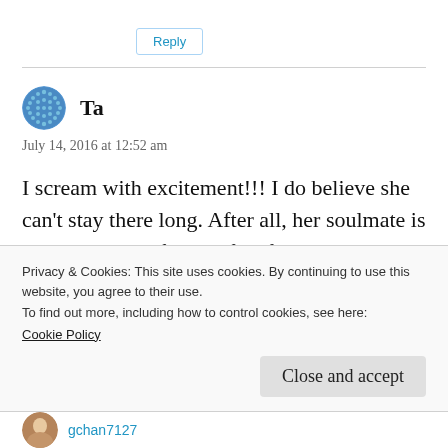Reply
Ta
July 14, 2016 at 12:52 am
I scream with excitement!!! I do believe she can't stay there long. After all, her soulmate is coming. It is definitely fate for them to keep meeting regardless of how far they r from each
Privacy & Cookies: This site uses cookies. By continuing to use this website, you agree to their use.
To find out more, including how to control cookies, see here:
Cookie Policy
Close and accept
gchan7127